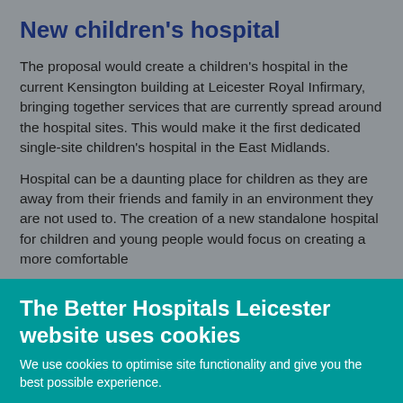New children's hospital
The proposal would create a children's hospital in the current Kensington building at Leicester Royal Infirmary, bringing together services that are currently spread around the hospital sites. This would make it the first dedicated single-site children's hospital in the East Midlands.
Hospital can be a daunting place for children as they are away from their friends and family in an environment they are not used to. The creation of a new standalone hospital for children and young people would focus on creating a more comfortable
The Better Hospitals Leicester website uses cookies
We use cookies to optimise site functionality and give you the best possible experience.
I'm ok with cookies | Settings | ×